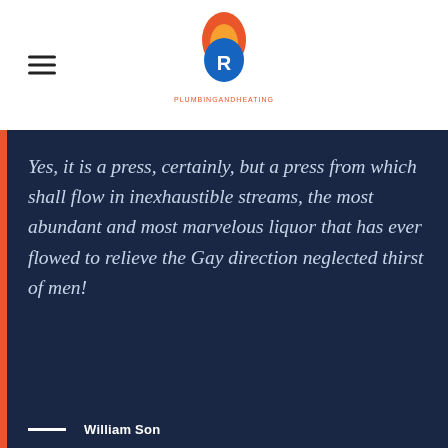PLUMBINGANDHEATING (logo)
Yes, it is a press, certainly, but a press from which shall flow in inexhaustible streams, the most abundant and most marvelous liquor that has ever flowed to relieve the Gay direction neglected thirst of men!
— William Son